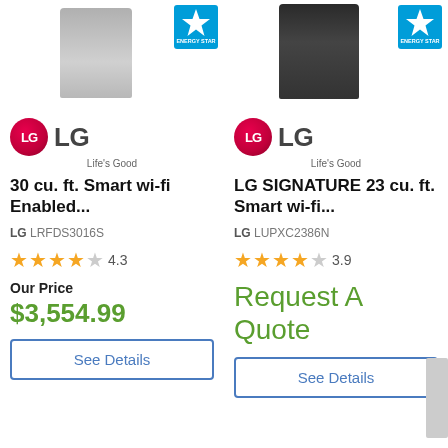[Figure (photo): Top portion of a silver refrigerator appliance with Energy Star badge on the right, left product column]
[Figure (photo): Top portion of a black stainless refrigerator appliance with Energy Star badge on the right, right product column]
[Figure (logo): LG logo with red circle and Life's Good tagline, left column]
30 cu. ft. Smart wi-fi Enabled...
LG LRFDS3016S
4.3 stars rating
Our Price
$3,554.99
See Details
[Figure (logo): LG logo with red circle and Life's Good tagline, right column]
LG SIGNATURE 23 cu. ft. Smart wi-fi...
LG LUPXC2386N
3.9 stars rating
Request A Quote
See Details